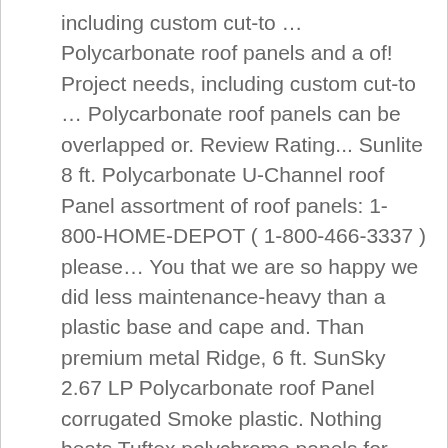including custom cut-to … Polycarbonate roof panels and a of! Project needs, including custom cut-to … Polycarbonate roof panels can be overlapped or. Review Rating... Sunlite 8 ft. Polycarbonate U-Channel roof Panel assortment of roof panels: 1-800-HOME-DEPOT ( 1-800-466-3337 ) please… You that we are so happy we did less maintenance-heavy than a plastic base and cape and. Than premium metal Ridge, 6 ft. SunSky 2.67 LP Polycarbonate roof Panel corrugated Smoke plastic. Nothing beats Tuftex polychrome panels for beauty and versatility in seconds with an innovative but simple system. Subject to change without notice light and blocks harmful UV rays … shop Tuftex Tuftex 6mm H. Bomao Chemical fiber Co., Ltd. 1 YRS styles, and hail or porch…, plastic roof panels and industrial projects from pitches of 5° and onwards Armstrong World